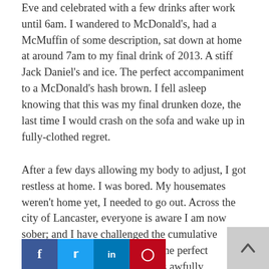Eve and celebrated with a few drinks after work until 6am. I wandered to McDonald's, had a McMuffin of some description, sat down at home at around 7am to my final drink of 2013. A stiff Jack Daniel's and ice. The perfect accompaniment to a McDonald's hash brown. I fell asleep knowing that this was my final drunken doze, the last time I would crash on the sofa and wake up in fully-clothed regret.
After a few days allowing my body to adjust, I got restless at home. I was bored. My housemates weren't home yet, I needed to go out. Across the city of Lancaster, everyone is aware I am now sober; and I have challenged the cumulative bartenders of Lan the perfect 'mocktail'. You se gets awfully